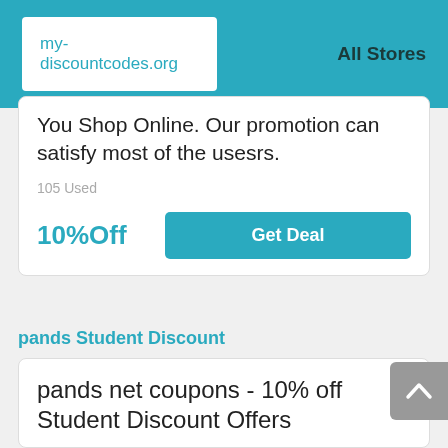my-discountcodes.org | All Stores
You Shop Online. Our promotion can satisfy most of the usesrs.
105 Used
10%Off
Get Deal
pands Student Discount
pands net coupons - 10% off Student Discount Offers
Save big by using this Promo Code & pands net coupons. Click now to snag